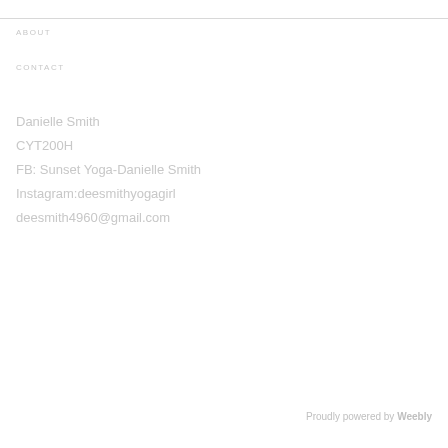ABOUT
CONTACT
Danielle Smith
CYT200H
FB: Sunset Yoga-Danielle Smith
Instagram:deesmithyogagirl
deesmith4960@gmail.com
Proudly powered by Weebly